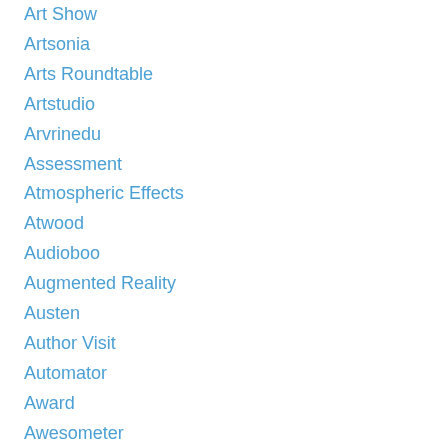Art Show
Artsonia
Arts Roundtable
Artstudio
Arvrinedu
Assessment
Atmospheric Effects
Atwood
Audioboo
Augmented Reality
Austen
Author Visit
Automator
Award
Awesometer
Bacon
Balance
Barbie Clothes
Baughcum
Beaker
Bear